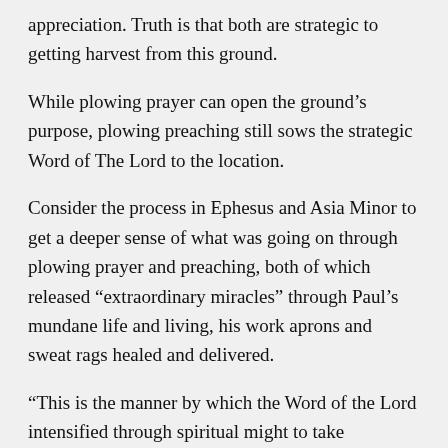appreciation. Truth is that both are strategic to getting harvest from this ground.
While plowing prayer can open the ground’s purpose, plowing preaching still sows the strategic Word of The Lord to the location.
Consider the process in Ephesus and Asia Minor to get a deeper sense of what was going on through plowing prayer and preaching, both of which released “extraordinary miracles” through Paul’s mundane life and living, his work aprons and sweat rags healed and delivered.
“This is the manner by which the Word of the Lord intensified through spiritual might to take dominion. (Acts 19:20)
You are not there yet? Follow this pattern. Note the